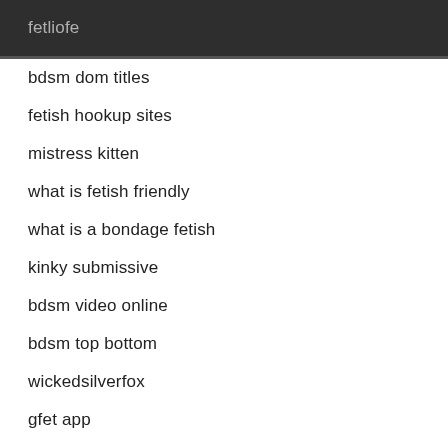fetliofe
bdsm dom titles
fetish hookup sites
mistress kitten
what is fetish friendly
what is a bondage fetish
kinky submissive
bdsm video online
bdsm top bottom
wickedsilverfox
gfet app
sadist master